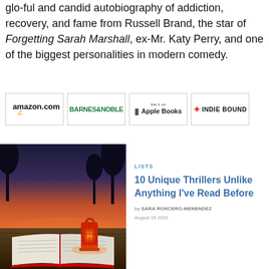glo-ful and candid autobiography of addiction, recovery, and fame from Russell Brand, the star of Forgetting Sarah Marshall, ex-Mr. Katy Perry, and one of the biggest personalities in modern comedy.
[Figure (other): Four retailer buttons in a row: amazon.com, BARNES & NOBLE, Get it on Apple Books, INDIE BOUND]
[Figure (photo): Photo of an open book and a red lantern glowing on a wooden surface with a sunset sky in the background]
LISTS
10 Unique Thrillers Unlike Anything I've Read Before
by SARA RONCERO-MENENDEZ
August 18 2022